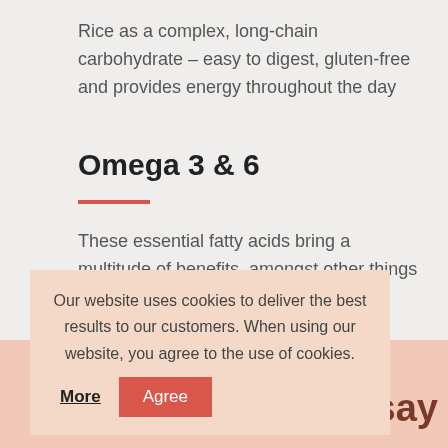Rice as a complex, long-chain carbohydrate – easy to digest, gluten-free and provides energy throughout the day
Omega 3 & 6
These essential fatty acids bring a multitude of benefits, amongst other things preventing heart diseases and inflammation.
Our website uses cookies to deliver the best results to our customers. When using our website, you agree to the use of cookies. More | Agree
rs say